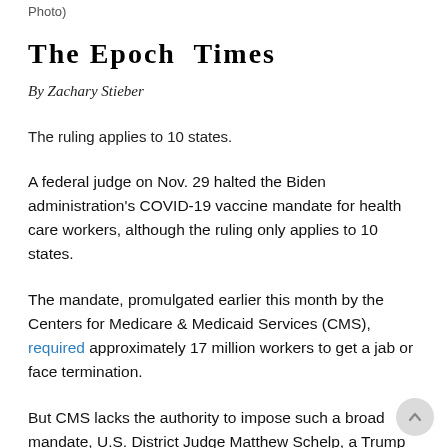Photo)
The Epoch  Times
By Zachary Stieber
The ruling applies to 10 states.
A federal judge on Nov. 29 halted the Biden administration's COVID-19 vaccine mandate for health care workers, although the ruling only applies to 10 states.
The mandate, promulgated earlier this month by the Centers for Medicare & Medicaid Services (CMS), required approximately 17 million workers to get a jab or face termination.
But CMS lacks the authority to impose such a broad mandate, U.S. District Judge Matthew Schelp, a Trump appointee, ruled.